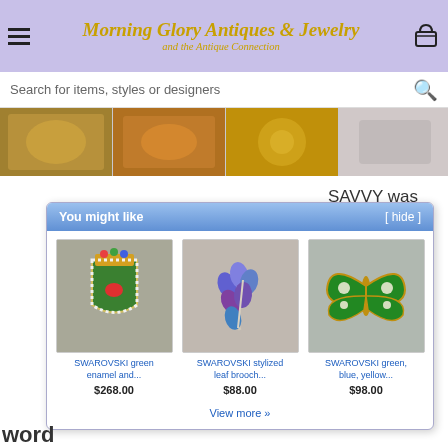Morning Glory Antiques & Jewelry and the Antique Connection
Search for items, styles or designers
[Figure (screenshot): Row of antique jewelry product thumbnail images on grey background]
SAVVY was another line made by
You might like [ hide ]
[Figure (photo): SWAROVSKI green enamel heraldic shield brooch with crown and rhinestones]
SWAROVSKI green enamel and...
$268.00
[Figure (photo): SWAROVSKI stylized leaf brooch with blue and purple rhinestones]
SWAROVSKI stylized leaf brooch...
$88.00
[Figure (photo): SWAROVSKI green enamel butterfly brooch with gold and white rhinestones]
SWAROVSKI green, blue, yellow...
$98.00
View more »
word